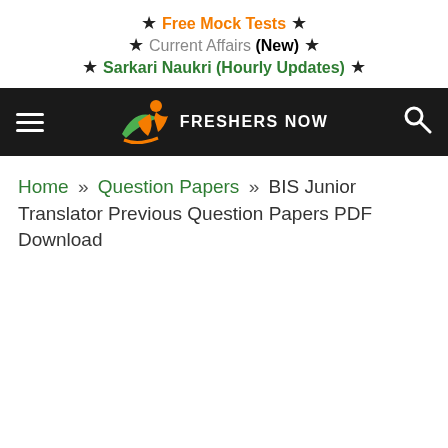★ Free Mock Tests ★
★ Current Affairs (New) ★
★ Sarkari Naukri (Hourly Updates) ★
[Figure (logo): Freshers Now website logo with hamburger menu and search icon on dark navbar]
Home » Question Papers » BIS Junior Translator Previous Question Papers PDF Download